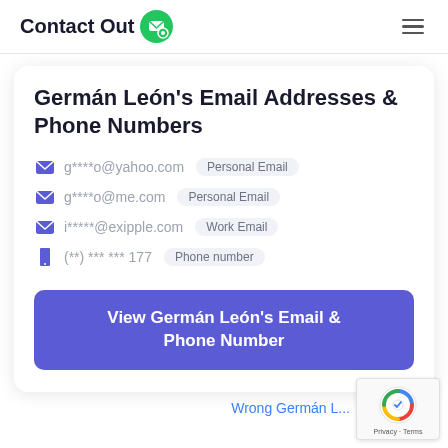Contact Out
Germán León's Email Addresses & Phone Numbers
g****o@yahoo.com  Personal Email
g****o@me.com  Personal Email
i*****@exipple.com  Work Email
(**) *** *** 177  Phone number
View Germán León's Email & Phone Number
Wrong Germán L...
Privacy · Terms